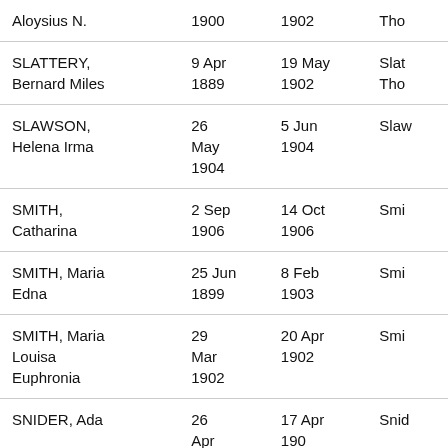| Name | Birth Date | Baptism Date | Parent/Other |
| --- | --- | --- | --- |
| Aloysius N. | 1900 | 1902 | Tho… |
| SLATTERY, Bernard Miles | 9 Apr 1889 | 19 May 1902 | Slat… Tho… |
| SLAWSON, Helena Irma | 26 May 1904 | 5 Jun 1904 | Slaw… |
| SMITH, Catharina | 2 Sep 1906 | 14 Oct 1906 | Smi… |
| SMITH, Maria Edna | 25 Jun 1899 | 8 Feb 1903 | Smi… |
| SMITH, Maria Louisa Euphronia | 29 Mar 1902 | 20 Apr 1902 | Smi… |
| SNIDER, Ada | 26 Apr 1882… | 17 Apr 190_ | Snid… |